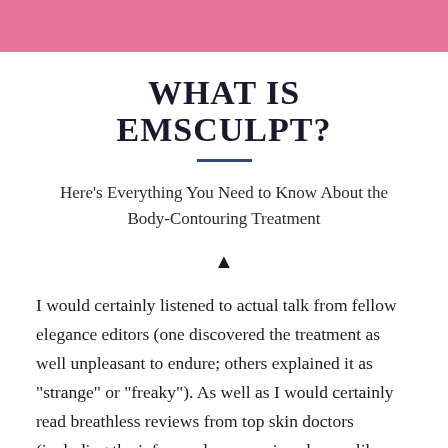WHAT IS EMSCULPT?
Here's Everything You Need to Know About the Body-Contouring Treatment
I would certainly listened to actual talk from fellow elegance editors (one discovered the treatment as well unpleasant to endure; others explained it as "strange" or "freaky"). As well as I would certainly read breathless reviews from top skin doctors (including the infamously unconvinced ones, like New York City